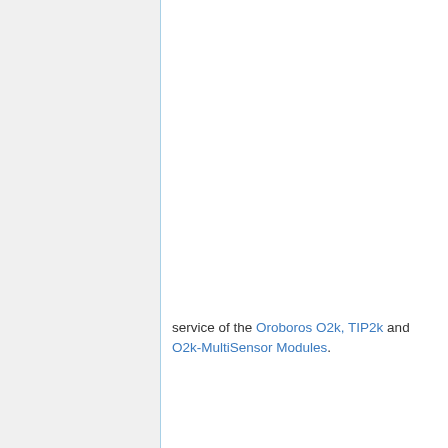service of the Oroboros O2k, TIP2k and O2k-MultiSensor Modules.